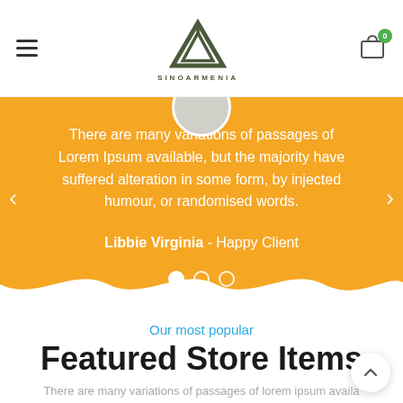SINOARMENIA navigation logo and cart
[Figure (screenshot): Testimonial carousel with orange background showing Lorem Ipsum quote by Libbie Virginia - Happy Client, with navigation arrows and pagination dots]
Our most popular
Featured Store Items
There are many variations of passages of lorem ipsum availa